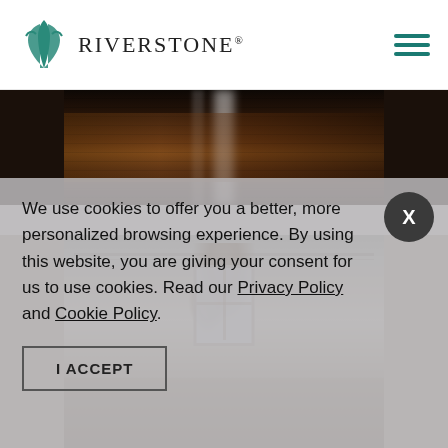Riverstone
[Figure (photo): Interior hallway with dark hardwood floors and white pillar]
[Figure (photo): Interior room with chandelier lighting, white ceiling with decorative trim, and large window]
We use cookies to offer you a better, more personalized browsing experience. By using this website, you are giving your consent for us to use cookies. Read our Privacy Policy and Cookie Policy.
I ACCEPT